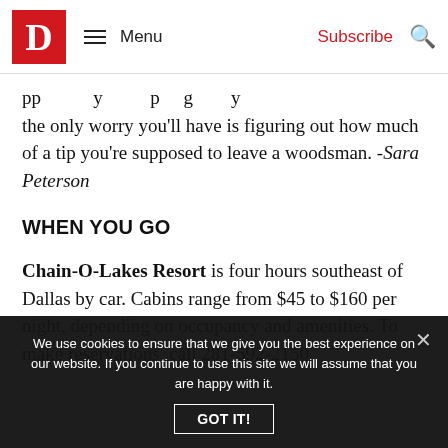D  Menu  Subscribe
the only worry you'll have is figuring out how much of a tip you're supposed to leave a woodsman. -Sara Peterson
WHEN YOU GO
Chain-O-Lakes Resort is four hours southeast of Dallas by car. Cabins range from $45 to $160 per night, depending on occupancy and amenities. To make reservations, call 281-592-2150
We use cookies to ensure that we give you the best experience on our website. If you continue to use this site we will assume that you are happy with it.
GOT IT!